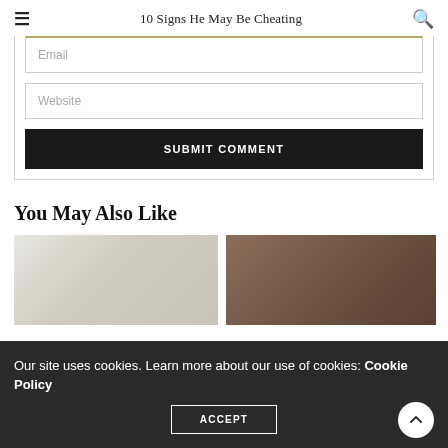10 Signs He May Be Cheating
[Figure (screenshot): Email input field with gold/tan top border, partially visible at top]
[Figure (screenshot): Website input field]
SUBMIT COMMENT
You May Also Like
[Figure (photo): Left blurred thumbnail image (light tones)]
[Figure (photo): Right blurred thumbnail image (dark brown tones)]
Our site uses cookies. Learn more about our use of cookies: Cookie Policy
ACCEPT